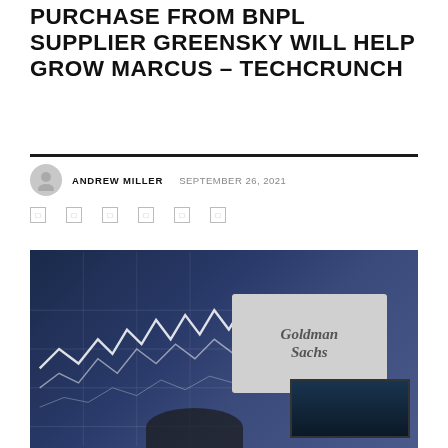PURCHASE FROM BNPL SUPPLIER GREENSKY WILL HELP GROW MARCUS – TECHCRUNCH
ANDREW MILLER  SEPTEMBER 26, 2021
[Figure (photo): Photo showing Goldman Sachs signage alongside a blurred stock market ticker/chart screen. A person's head is partially visible at the bottom, and a TV screen showing financial news is visible at lower right.]